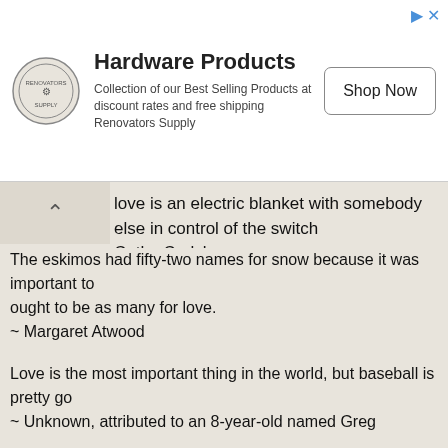[Figure (other): Advertisement banner for Hardware Products by Renovators Supply with logo, text, and Shop Now button]
love is an electric blanket with somebody else in control of the switch
~ Cathy Carlyle
The eskimos had fifty-two names for snow because it was important to them; there ought to be as many for love.
~ Margaret Atwood
Love is the most important thing in the world, but baseball is pretty good too.
~ Unknown, attributed to an 8-year-old named Greg
Return to Index of Best Love Quotes
Love means nothing in tennis, but it's everything in life.
~ Unknown
Love is what makes two people sit in the middle of a bench when there is room at both ends.
~ Unknown
Come live in my heart and pay no rent.
~ Samuel Lover
You know you're in love when you can't fall asleep because reality is finally better than your dreams.